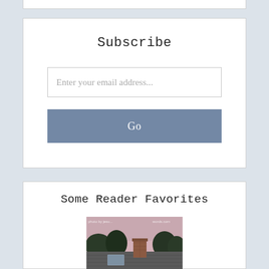Subscribe
Enter your email address...
Go
Some Reader Favorites
[Figure (photo): A rooftop with a chimney and skylight, trees in the background against a pink evening sky. Watermark reads 'photo by jesu...words.com']